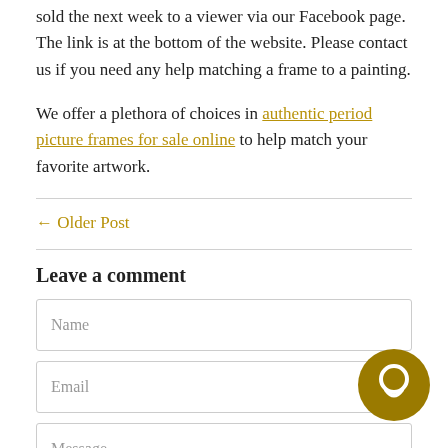sold the next week to a viewer via our Facebook page. The link is at the bottom of the website. Please contact us if you need any help matching a frame to a painting.
We offer a plethora of choices in authentic period picture frames for sale online to help match your favorite artwork.
← Older Post
Leave a comment
Name
Email
Message